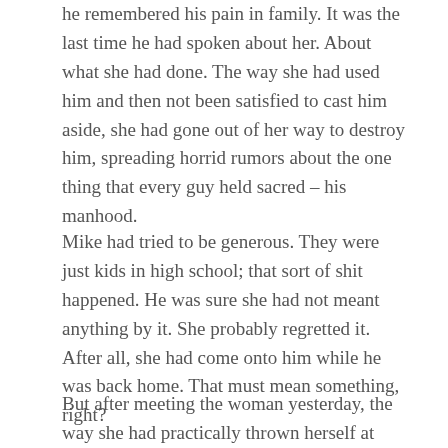he remembered his pain in family. It was the last time he had spoken about her. About what she had done. The way she had used him and then not been satisfied to cast him aside, she had gone out of her way to destroy him, spreading horrid rumors about the one thing that every guy held sacred – his manhood.
Mike had tried to be generous. They were just kids in high school; that sort of shit happened. He was sure she had not meant anything by it. She probably regretted it. After all, she had come onto him while he was back home. That must mean something, right?
But after meeting the woman yesterday, the way she had practically thrown herself at him. And not even